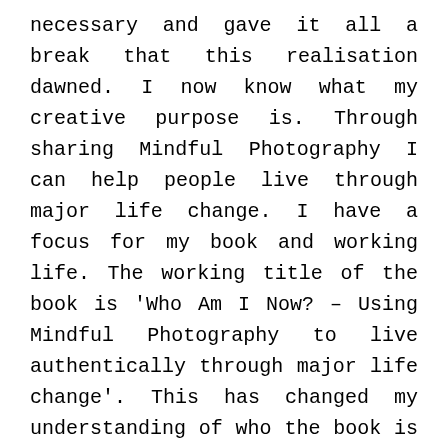necessary and gave it all a break that this realisation dawned. I now know what my creative purpose is. Through sharing Mindful Photography I can help people live through major life change. I have a focus for my book and working life. The working title of the book is 'Who Am I Now? – Using Mindful Photography to live authentically through major life change'. This has changed my understanding of who the book is for and of who I am working for.
This understanding has immediately born other fruit. I now have a clear appreciation of the kind of photos I want to create. I want to create photos of people who are